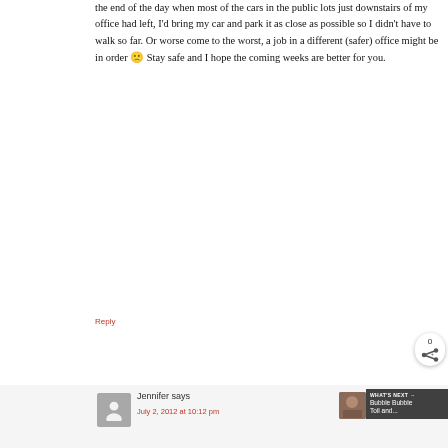the end of the day when most of the cars in the public lots just downstairs of my office had left, I'd bring my car and park it as close as possible so I didn't have to walk so far. Or worse come to the worst, a job in a different (safer) office might be in order 🙁 Stay safe and I hope the coming weeks are better for you.
Reply
Jennifer says
July 2, 2012 at 10:12 pm